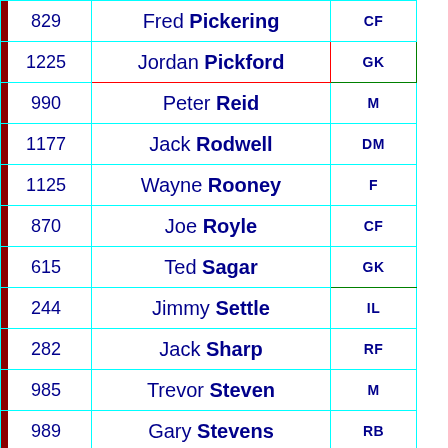| # | Name | Position |
| --- | --- | --- |
| 829 | Fred Pickering | CF |
| 1225 | Jordan Pickford | GK |
| 990 | Peter Reid | M |
| 1177 | Jack Rodwell | DM |
| 1125 | Wayne Rooney | F |
| 870 | Joe Royle | CF |
| 615 | Ted Sagar | GK |
| 244 | Jimmy Settle | IL |
| 282 | Jack Sharp | RF |
| 985 | Trevor Steven | M |
| 989 | Gary Stevens | RB |
| 1202 | John Stones | CD |
| 839 | Derek Temple | OL |
| 1066 | David Unsworth | CD |